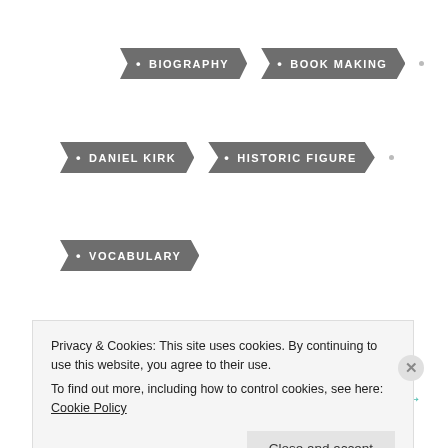• BIOGRAPHY
• BOOK MAKING
• DANIEL KIRK
• HISTORIC FIGURE
• VOCABULARY
Miss Alaineus →
Privacy & Cookies: This site uses cookies. By continuing to use this website, you agree to their use.
To find out more, including how to control cookies, see here: Cookie Policy
Close and accept